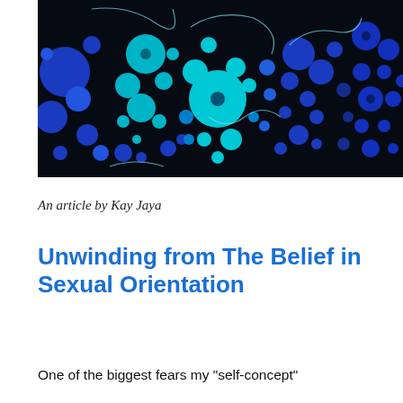[Figure (illustration): Abstract digital art with black background and blue/cyan circular dot patterns forming organic shapes, with light blue curving line accents.]
An article by Kay Jaya
Unwinding from The Belief in Sexual Orientation
One of the biggest fears my "self-concept"